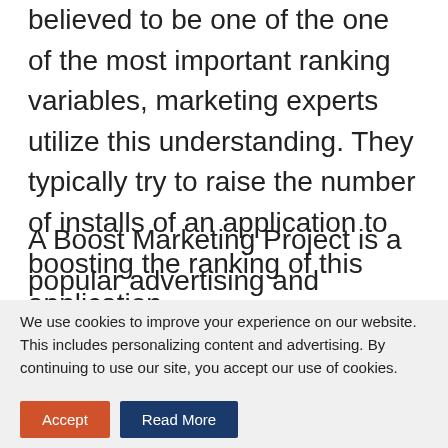believed to be one of the most important ranking variables, marketing experts utilize this understanding. They typically try to raise the number of installs of an application to boosting the ranking of this application.
A Boost Marketing Project is a popular advertising and marketing approach for enhancing the app position as well as purchases from new users.
We use cookies to improve your experience on our website. This includes personalizing content and advertising. By continuing to use our site, you accept our use of cookies.
Accept
Read More